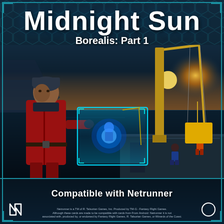Midnight Sun
Borealis: Part 1
[Figure (illustration): Game box cover art showing a woman in a red coat holding a glowing holographic display on a ship deck, with a yellow crane lowering equipment into dark arctic waters at sunset. Hexagonal pattern border at top.]
Compatible with Netrunner
Netrunner is a TM of R. Talsorian Games, Inc. Produced by TM-G - Fantasy Flight Games. Although these cards are made to be compatible with cards from From Android: Netrunner it is not associated with, produced by, or endorsed by Fantasy Flight Games, R. Talsorian Games, or Wizards of the Coast.